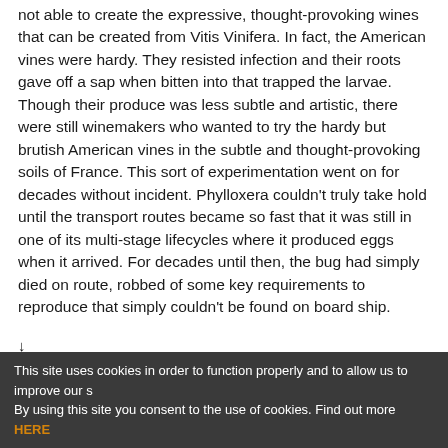not able to create the expressive, thought-provoking wines that can be created from Vitis Vinifera. In fact, the American vines were hardy. They resisted infection and their roots gave off a sap when bitten into that trapped the larvae. Though their produce was less subtle and artistic, there were still winemakers who wanted to try the hardy but brutish American vines in the subtle and thought-provoking soils of France. This sort of experimentation went on for decades without incident. Phylloxera couldn't truly take hold until the transport routes became so fast that it was still in one of its multi-stage lifecycles where it produced eggs when it arrived. For decades until then, the bug had simply died on route, robbed of some key requirements to reproduce that simply couldn't be found on board ship.
↓
Global spread
This site uses cookies in order to function properly and to allow us to improve our s By using this site you consent to the use of cookies. Find out more HERE